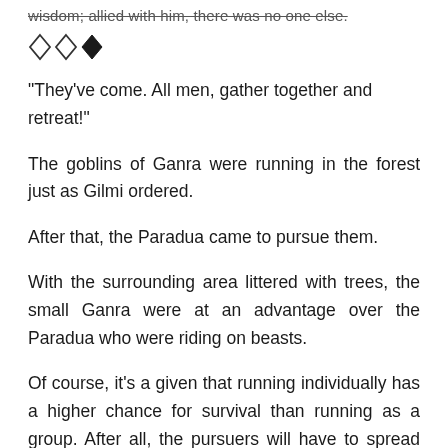wisdom; allied with him, there was no one else.
[Figure (illustration): Three diamond/rhombus shapes: two outline diamonds followed by one solid black diamond, used as a section break divider.]
“They’ve come. All men, gather together and retreat!”
The goblins of Ganra were running in the forest just as Gilmi ordered.
After that, the Paradua came to pursue them.
With the surrounding area littered with trees, the small Ganra were at an advantage over the Paradua who were riding on beasts.
Of course, it’s a given that running individually has a higher chance for survival than running as a group. After all, the pursuers will have to spread themselves. But